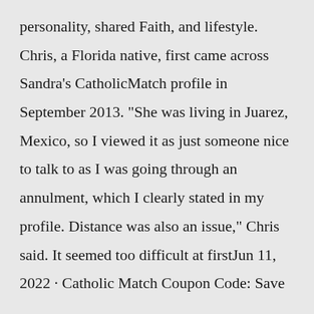personality, shared Faith, and lifestyle. Chris, a Florida native, first came across Sandra's CatholicMatch profile in September 2013. "She was living in Juarez, Mexico, so I viewed it as just someone nice to talk to as I was going through an annulment, which I clearly stated in my profile. Distance was also an issue," Chris said. It seemed too difficult at firstJun 11, 2022 · Catholic Match Coupon Code: Save